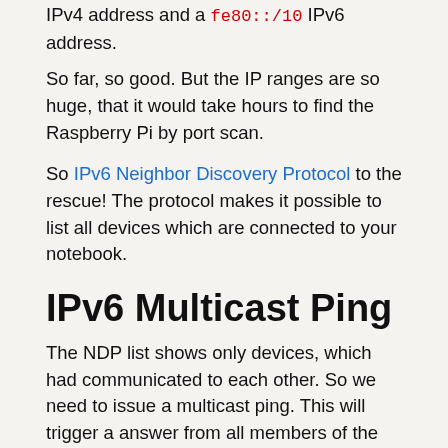IPv4 address and a fe80::/10 IPv6 address.
So far, so good. But the IP ranges are so huge, that it would take hours to find the Raspberry Pi by port scan.
So IPv6 Neighbor Discovery Protocol to the rescue! The protocol makes it possible to list all devices which are connected to your notebook.
IPv6 Multicast Ping
The NDP list shows only devices, which had communicated to each other. So we need to issue a multicast ping. This will trigger a answer from all members of the subnet.
We need the interface name for this. In Linux it is just the normal interface name (eth0, wlan0, usb0,